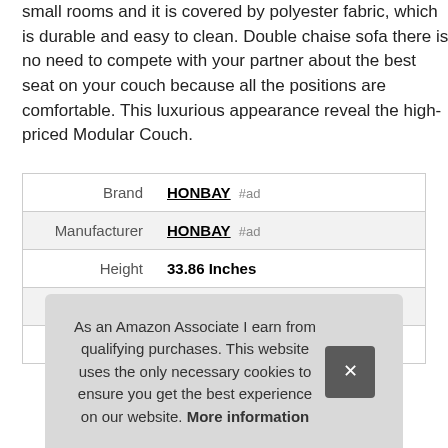small rooms and it is covered by polyester fabric, which is durable and easy to clean. Double chaise sofa there is no need to compete with your partner about the best seat on your couch because all the positions are comfortable. This luxurious appearance reveal the high-priced Modular Couch.
|  |  |
| --- | --- |
| Brand | HONBAY #ad |
| Manufacturer | HONBAY #ad |
| Height | 33.86 Inches |
| Length | 87.01 Inches |
| Weight | 200 Pounds |
As an Amazon Associate I earn from qualifying purchases. This website uses the only necessary cookies to ensure you get the best experience on our website. More information